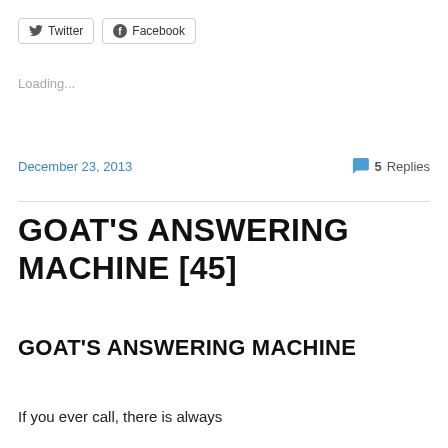[Figure (other): Twitter and Facebook share buttons]
Loading...
December 23, 2013
5 Replies
GOAT'S ANSWERING MACHINE [45]
GOAT'S ANSWERING MACHINE
If you ever call, there is always